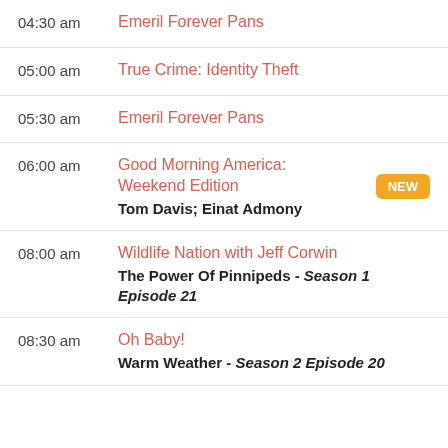04:30 am — Emeril Forever Pans
05:00 am — True Crime: Identity Theft
05:30 am — Emeril Forever Pans
06:00 am — Good Morning America: Weekend Edition [NEW] Tom Davis; Einat Admony
08:00 am — Wildlife Nation with Jeff Corwin — The Power Of Pinnipeds - Season 1 Episode 21
08:30 am — Oh Baby! — Warm Weather - Season 2 Episode 20